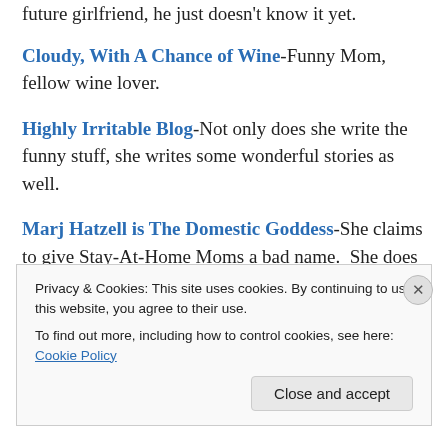future girlfriend, he just doesn't know it yet.
Cloudy, With A Chance of Wine-Funny Mom, fellow wine lover.
Highly Irritable Blog-Not only does she write the funny stuff, she writes some wonderful stories as well.
Marj Hatzell is The Domestic Goddess-She claims to give Stay-At-Home Moms a bad name.  She does anything but.
Privacy & Cookies: This site uses cookies. By continuing to use this website, you agree to their use. To find out more, including how to control cookies, see here: Cookie Policy